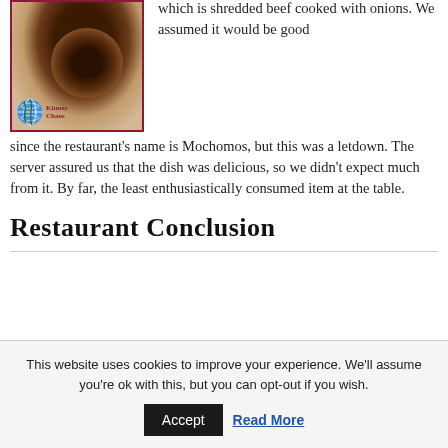[Figure (photo): A photo of a food dish (dark braised/shredded beef) on a plate, inside a dark red/maroon border frame. A 'Kinney Chaos' blog logo with a globe icon is in the lower left of the image.]
which is shredded beef cooked with onions. We assumed it would be good since the restaurant's name is Mochomos, but this was a letdown. The server assured us that the dish was delicious, so we didn't expect much from it. By far, the least enthusiastically consumed item at the table.
Restaurant Conclusion
This website uses cookies to improve your experience. We'll assume you're ok with this, but you can opt-out if you wish.